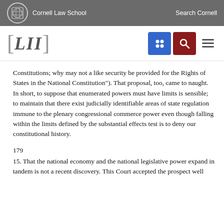Cornell Law School  Search Cornell
[Figure (logo): LII Cornell Law School logo with navigation icons (grid icon in blue, search icon in red, hamburger menu)]
Constitutions; why may not a like security be provided for the Rights of States in the National Constitution"). That proposal, too, came to naught. In short, to suppose that enumerated powers must have limits is sensible; to maintain that there exist judicially identifiable areas of state regulation immune to the plenary congressional commerce power even though falling within the limits defined by the substantial effects test is to deny our constitutional history.
179
15. That the national economy and the national legislative power expand in tandem is not a recent discovery. This Court accepted the prospect well